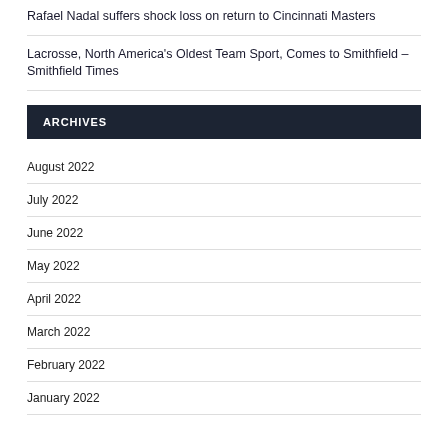Rafael Nadal suffers shock loss on return to Cincinnati Masters
Lacrosse, North America's Oldest Team Sport, Comes to Smithfield – Smithfield Times
ARCHIVES
August 2022
July 2022
June 2022
May 2022
April 2022
March 2022
February 2022
January 2022